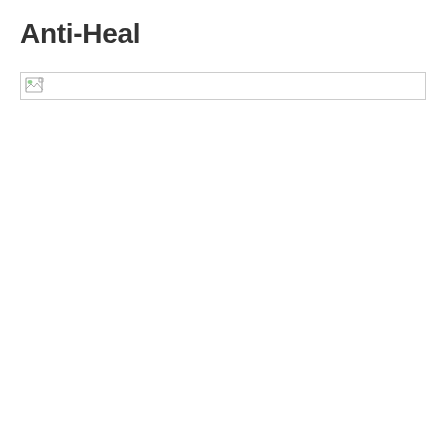Anti-Heal
[Figure (other): Broken/missing image placeholder with icon]